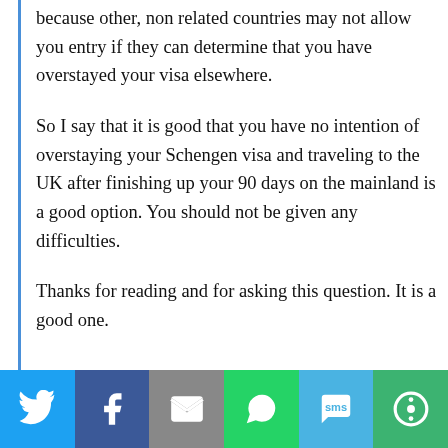because other, non related countries may not allow you entry if they can determine that you have overstayed your visa elsewhere.
So I say that it is good that you have no intention of overstaying your Schengen visa and traveling to the UK after finishing up your 90 days on the mainland is a good option. You should not be given any difficulties.
Thanks for reading and for asking this question. It is a good one.
[Figure (infographic): Social media sharing bar with icons for Twitter, Facebook, Email, WhatsApp, SMS, and More]